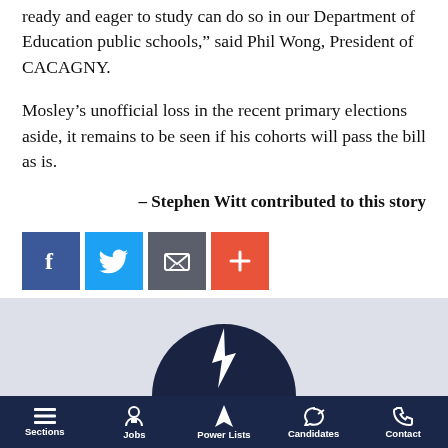ready and eager to study can do so in our Department of Education public schools," said Phil Wong, President of CACAGNY.
Mosley's unofficial loss in the recent primary elections aside, it remains to be seen if his cohorts will pass the bill as is.
– Stephen Witt contributed to this story
[Figure (screenshot): Social sharing buttons: Facebook (blue), Twitter (blue), Email (gray), Plus/Add (orange-red)]
[Figure (screenshot): Website related content box with circular logo partially visible]
Sections | Jobs | Power Lists | Candidates | Contact